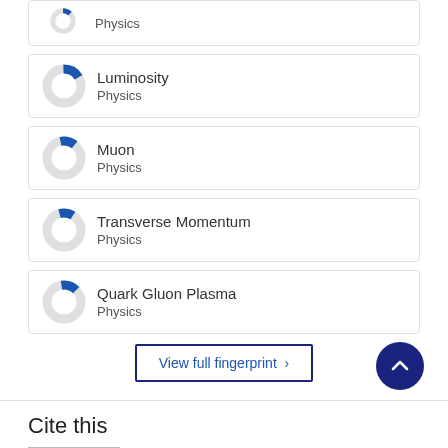[Figure (donut-chart): Partial donut chart icon for Physics topic (top, cropped)]
Physics
[Figure (donut-chart): Partial donut chart icon for Luminosity topic]
Luminosity
Physics
[Figure (donut-chart): Partial donut chart icon for Muon topic]
Muon
Physics
[Figure (donut-chart): Partial donut chart icon for Transverse Momentum topic]
Transverse Momentum
Physics
[Figure (donut-chart): Partial donut chart icon for Quark Gluon Plasma topic]
Quark Gluon Plasma
Physics
View full fingerprint  ›
Cite this